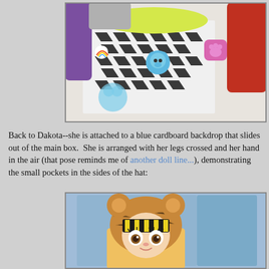[Figure (photo): Close-up photo of a doll wearing a black and white houndstooth dress with a yellow ruffled collar, featuring colorful animal charm accessories including a blue koala, rainbow charm, and paw print badge. Red hair visible at sides.]
Back to Dakota--she is attached to a blue cardboard backdrop that slides out of the main box.  She is arranged with her legs crossed and her hand in the air (that pose reminds me of another doll line...), demonstrating the small pockets in the sides of the hat:
[Figure (photo): Photo of a doll with a fuzzy brown bear hat with ears, black and yellow striped bangs/hair, large doll eyes with eyelashes, positioned against a blue cardboard backdrop.]